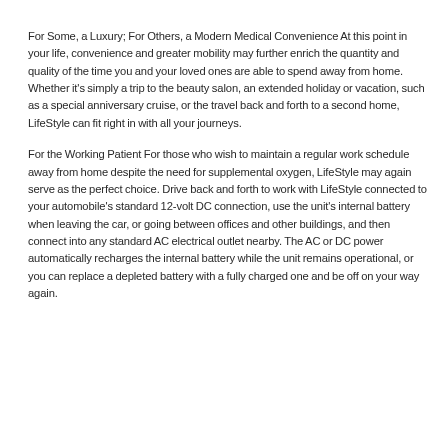For Some, a Luxury; For Others, a Modern Medical Convenience At this point in your life, convenience and greater mobility may further enrich the quantity and quality of the time you and your loved ones are able to spend away from home. Whether it's simply a trip to the beauty salon, an extended holiday or vacation, such as a special anniversary cruise, or the travel back and forth to a second home, LifeStyle can fit right in with all your journeys.
For the Working Patient For those who wish to maintain a regular work schedule away from home despite the need for supplemental oxygen, LifeStyle may again serve as the perfect choice. Drive back and forth to work with LifeStyle connected to your automobile's standard 12-volt DC connection, use the unit's internal battery when leaving the car, or going between offices and other buildings, and then connect into any standard AC electrical outlet nearby. The AC or DC power automatically recharges the internal battery while the unit remains operational, or you can replace a depleted battery with a fully charged one and be off on your way again.